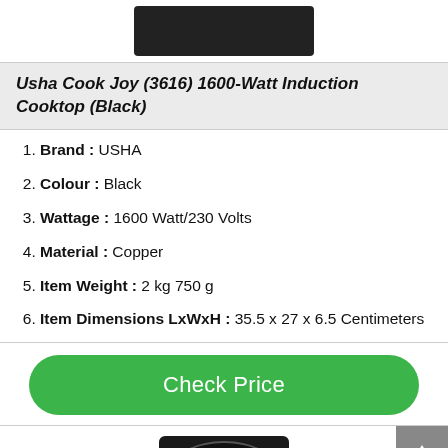[Figure (photo): Top portion of induction cooktop product image (black device) cropped at top of page]
Usha Cook Joy (3616) 1600-Watt Induction Cooktop (Black)
Brand : USHA
Colour : Black
Wattage : 1600 Watt/230 Volts
Material : Copper
Item Weight : 2 kg 750 g
Item Dimensions LxWxH : 35.5 x 27 x 6.5 Centimeters
[Figure (screenshot): Green rounded button labeled 'Check Price']
[Figure (photo): Bottom portion of next induction cooktop product image (black device) partially visible at bottom of page]